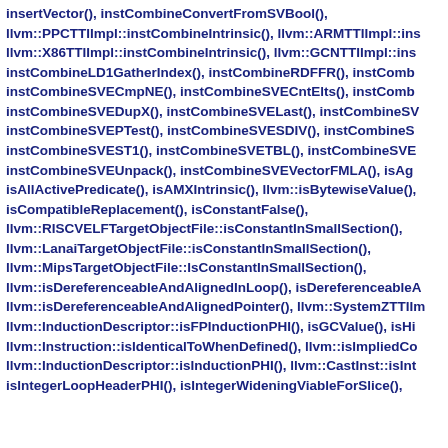insertVector(), instCombineConvertFromSVBool(), llvm::PPCTTIImpl::instCombineIntrinsic(), llvm::ARMTTIImpl::instCombineIntrinsic(), llvm::X86TTIImpl::instCombineIntrinsic(), llvm::GCNTTIImpl::instCombineIntrinsic(), instCombineLD1GatherIndex(), instCombineRDFFR(), instCombineSVECmpNE(), instCombineSVECntElts(), instCombineSVEDupX(), instCombineSVELast(), instCombineSVEPTest(), instCombineSVESDIV(), instCombineSVEST1(), instCombineSVETBL(), instCombineSVEUnpack(), instCombineSVEVectorFMLA(), isAggregateTooBigForPass(), isAllActivePredicate(), isAMXIntrinsic(), llvm::isBytewiseValue(), isCompatibleReplacement(), isConstantFalse(), llvm::RISCVELFTargetObjectFile::isConstantInSmallSection(), llvm::LanaiTargetObjectFile::isConstantInSmallSection(), llvm::MipsTargetObjectFile::IsConstantInSmallSection(), llvm::isDereferenceableAndAlignedInLoop(), isDereferenceableAndAlignedPointer(), llvm::isDereferenceableAndAlignedPointer(), llvm::SystemZTTIImpl::isHardwareLoopProfitable(), llvm::InductionDescriptor::isFPInductionPHI(), isGCValue(), isHidden(), llvm::Instruction::isIdenticalToWhenDefined(), llvm::isImpliedCondition(), llvm::InductionDescriptor::isInductionPHI(), llvm::CastInst::isIntegerCast(), isIntegerLoopHeaderPHI(), isIntegerWideningViableForSlice(),